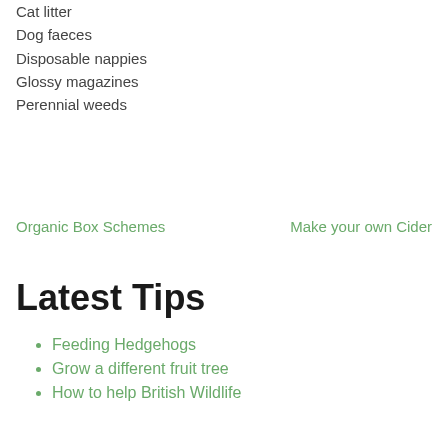Cat litter
Dog faeces
Disposable nappies
Glossy magazines
Perennial weeds
Organic Box Schemes    Make your own Cider
Latest Tips
Feeding Hedgehogs
Grow a different fruit tree
How to help British Wildlife